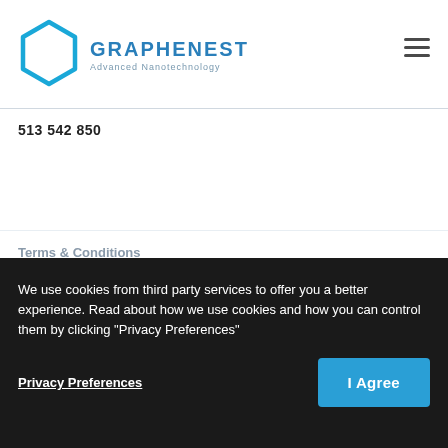[Figure (logo): Graphenest logo with hexagon icon and text 'GRAPHENEST Advanced Nanotechnology']
513 542 850
Terms & Conditions
Privacy Policy
Cookies Policy
We use cookies from third party services to offer you a better experience. Read about how we use cookies and how you can control them by clicking "Privacy Preferences"
Privacy Preferences
I Agree